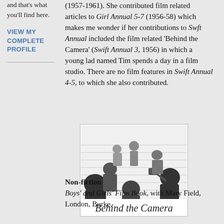and that's what you'll find here.
VIEW MY COMPLETE PROFILE
(1957-1961). She contributed film related articles to Girl Annual 5-7 (1956-58) which makes me wonder if her contributions to Swft Annual included the film related 'Behind the Camera' (Swift Annual 3, 1956) in which a young lad named Tim spends a day in a film studio. There are no film features in Swift Annual 4-5, to which she also contributed.
[Figure (illustration): Black and white illustration of a film studio scene with crew members and a title 'Behind the Camera' in script font]
Non-fiction
Boys' and Girls' Film Book, with Mary Field, London, Burke,